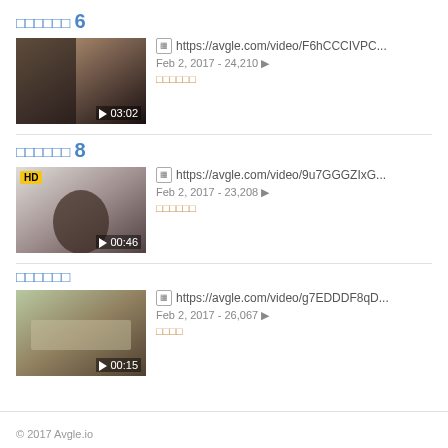□□□□□□ 6
[Figure (screenshot): Video thumbnail showing duration 03:02]
https://avgle.com/video/F6hCCCIVPC...
Feb 2, 2017 - 24,210
□□□□□□
□□□□□□ 8
[Figure (screenshot): Video thumbnail with HD badge showing duration 00:46]
https://avgle.com/video/9u7GGGZIxG...
Feb 2, 2017 - 23,208
□□□□□□
□□□□□□
[Figure (screenshot): Video thumbnail showing duration 00:15]
https://avgle.com/video/g7EDDDF8qD...
Feb 2, 2017 - 26,067
□□□□
© 2017 Avgle.io